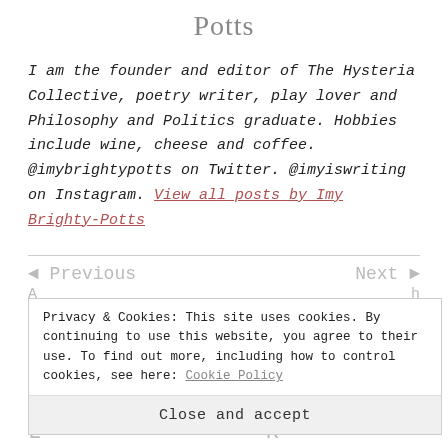Potts
I am the founder and editor of The Hysteria Collective, poetry writer, play lover and Philosophy and Politics graduate. Hobbies include wine, cheese and coffee. @imybrightypotts on Twitter. @imyiswriting on Instagram. View all posts by Imy Brighty-Potts
◄ Previous   Next ►
Privacy & Cookies: This site uses cookies. By continuing to use this website, you agree to their use. To find out more, including how to control cookies, see here: Cookie Policy
Close and accept